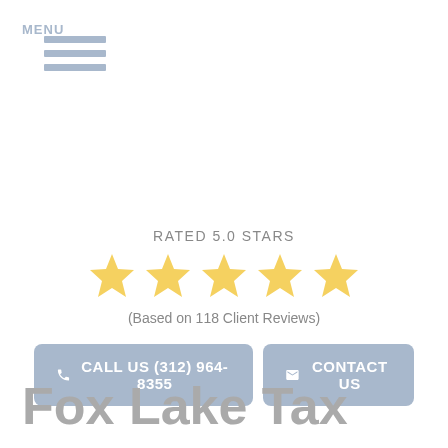MENU
RATED 5.0 STARS
[Figure (infographic): Five gold stars rating display]
(Based on 118 Client Reviews)
CALL US (312) 964-8355   CONTACT US
Fox Lake Tax